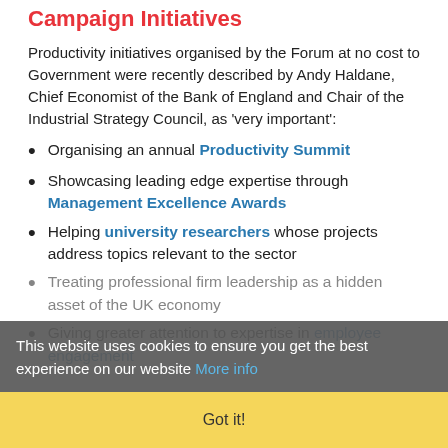Campaign Initiatives
Productivity initiatives organised by the Forum at no cost to Government were recently described by Andy Haldane, Chief Economist of the Bank of England and Chair of the Industrial Strategy Council, as 'very important':
Organising an annual Productivity Summit
Showcasing leading edge expertise through Management Excellence Awards
Helping university researchers whose projects address topics relevant to the sector
Treating professional firm leadership as a hidden asset of the UK economy
Giving greater attention to expertise in employee engagement
This website uses cookies to ensure you get the best experience on our website More info
Got it!